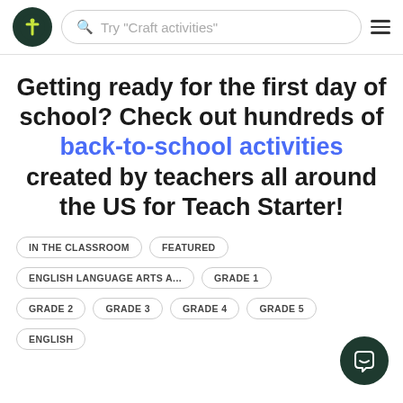Try "Craft activities"
Getting ready for the first day of school? Check out hundreds of back-to-school activities created by teachers all around the US for Teach Starter!
IN THE CLASSROOM
FEATURED
ENGLISH LANGUAGE ARTS A...
GRADE 1
GRADE 2
GRADE 3
GRADE 4
GRADE 5
ENGLISH